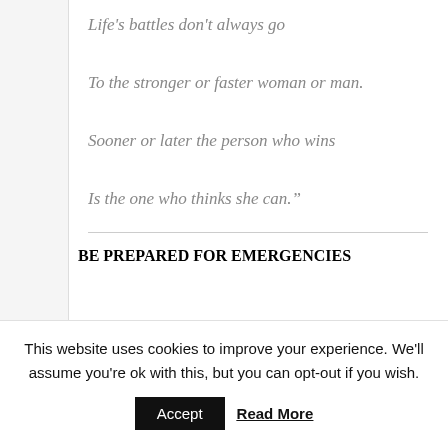Life's battles don't always go
To the stronger or faster woman or man.
Sooner or later the person who wins
Is the one who thinks she can."
BE PREPARED FOR EMERGENCIES
This website uses cookies to improve your experience. We'll assume you're ok with this, but you can opt-out if you wish.